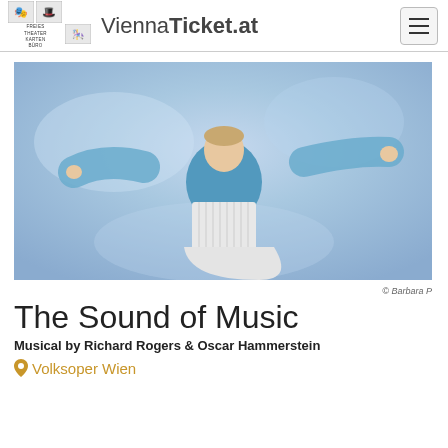ViennaTicket.at
[Figure (photo): Performer on stage in a blue dress and white apron with arms outstretched, against a blue/purple background. Production photo for The Sound of Music at Volksoper Wien. Copyright: Barbara P]
© Barbara P
The Sound of Music
Musical by Richard Rogers & Oscar Hammerstein
Volksoper Wien